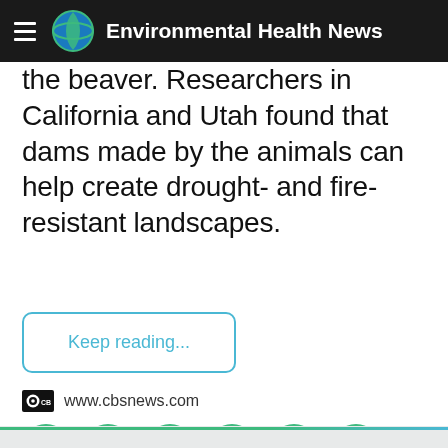Environmental Health News
the beaver. Researchers in California and Utah found that dams made by the animals can help create drought- and fire-resistant landscapes.
Keep reading...
www.cbsnews.com